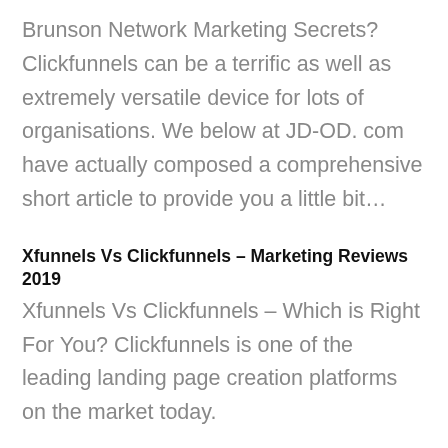Brunson Network Marketing Secrets? Clickfunnels can be a terrific as well as extremely versatile device for lots of organisations. We below at JD-OD. com have actually composed a comprehensive short article to provide you a little bit…
Xfunnels Vs Clickfunnels – Marketing Reviews 2019
Xfunnels Vs Clickfunnels – Which is Right For You? Clickfunnels is one of the leading landing page creation platforms on the market today.